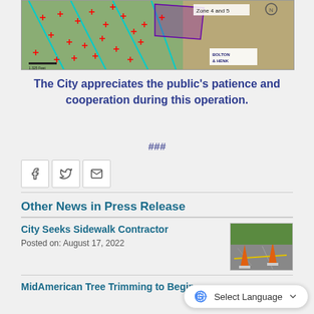[Figure (map): Aerial/satellite map with red markers and overlaid zone lines (cyan) and purple polygon, showing Bolton & Henk branding and Zone 4 and 5 label]
The City appreciates the public’s patience and cooperation during this operation.
###
[Figure (infographic): Social share buttons: Facebook, Twitter, Email]
Other News in Press Release
City Seeks Sidewalk Contractor
Posted on: August 17, 2022
[Figure (photo): Photo of sidewalk with orange construction cones and yellow markings]
MidAmerican Tree Trimming to Begin